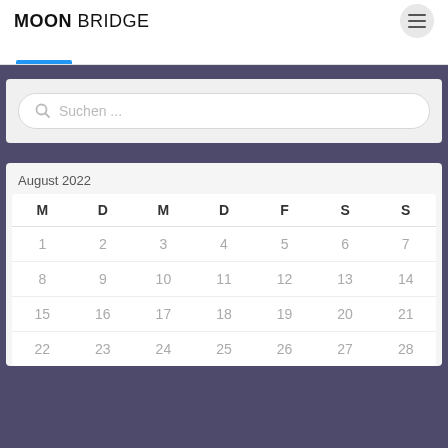MOON BRIDGE
[Figure (screenshot): Blue tab active indicator bar]
Suchen ...
| M | D | M | D | F | S | S |
| --- | --- | --- | --- | --- | --- | --- |
| 1 | 2 | 3 | 4 | 5 | 6 | 7 |
| 8 | 9 | 10 | 11 | 12 | 13 | 14 |
| 15 | 16 | 17 | 18 | 19 | 20 | 21 |
| 22 | 23 | 24 | 25 | 26 | 27 | 28 |